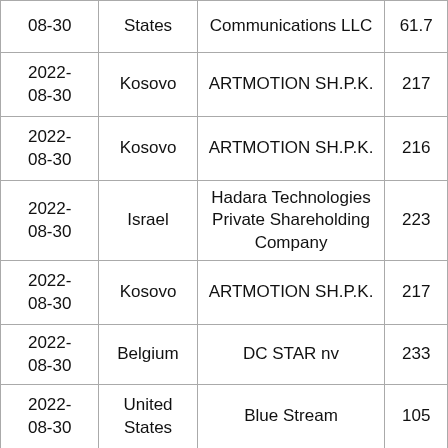| 08-30 | States | Communications LLC | 61.7 |
| 2022-08-30 | Kosovo | ARTMOTION SH.P.K. | 217 |
| 2022-08-30 | Kosovo | ARTMOTION SH.P.K. | 216 |
| 2022-08-30 | Israel | Hadara Technologies Private Shareholding Company | 223 |
| 2022-08-30 | Kosovo | ARTMOTION SH.P.K. | 217 |
| 2022-08-30 | Belgium | DC STAR nv | 233 |
| 2022-08-30 | United States | Blue Stream | 105 |